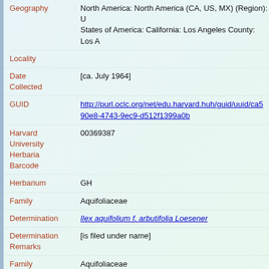Geography: North America: North America (CA, US, MX) (Region): United States of America: California: Los Angeles County: Los A...
Locality:
Date Collected: [ca. July 1964]
GUID: http://purl.oclc.org/net/edu.harvard.huh/guid/uuid/ca5...90e8-4743-9ec9-d512f1399a0b
Harvard University Herbaria Barcode: 00369387
Herbarium: GH
Family: Aquifoliaceae
Determination: Ilex aquifolium f. arbutifolia Loesener
Determination Remarks: [is filed under name]
Family: Aquifoliaceae
Determination: Ilex aquifolium f. arbutifolia Loesener
Determined by: Zika, Peter Francis
Date Determined: 2004
Determination: [0] [is Current name]